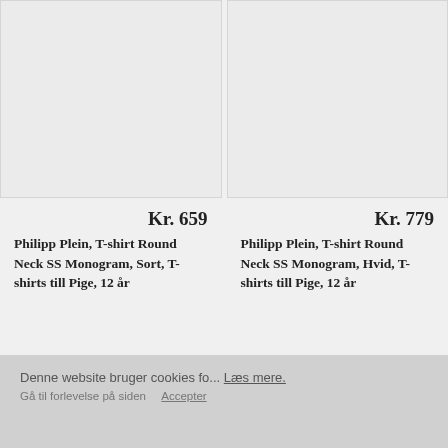[Figure (photo): Product image placeholder for Philipp Plein T-shirt (left, Sort/Black)]
Kr. 659
Philipp Plein, T-shirt Round Neck SS Monogram, Sort, T-shirts till Pige, 12 år
[Figure (photo): Product image placeholder for Philipp Plein T-shirt (right, Hvid/White)]
Kr. 779
Philipp Plein, T-shirt Round Neck SS Monogram, Hvid, T-shirts till Pige, 12 år
Denne website bruger cookies fo... Læs mere. Gå til forlevelse på siden    Accepter
OK